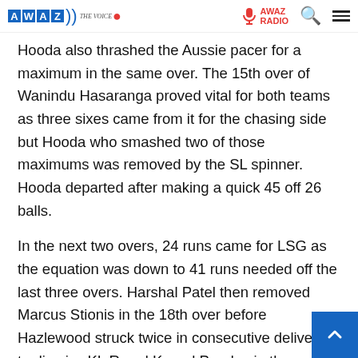AWAZ THE VOICE — AWAZ RADIO
Hooda also thrashed the Aussie pacer for a maximum in the same over. The 15th over of Wanindu Hasaranga proved vital for both teams as three sixes came from it for the chasing side but Hooda who smashed two of those maximums was removed by the SL spinner. Hooda departed after making a quick 45 off 26 balls.
In the next two overs, 24 runs came for LSG as the equation was down to 41 runs needed off the last three overs. Harshal Patel then removed Marcus Stionis in the 18th over before Hazlewood struck twice in consecutive deliveries to dismiss KL R and Krunal Pandya in the penultimate over. 24 6 were needed but Harshal Patel held his nerves to